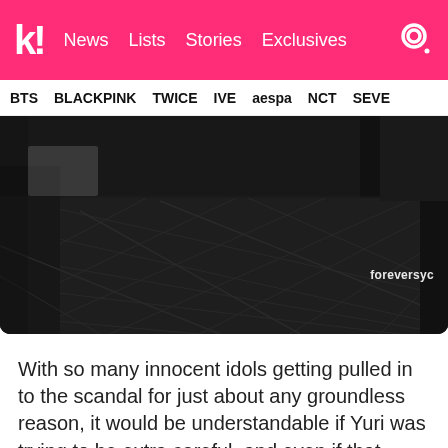k! News Lists Stories Exclusives
BTS BLACKPINK TWICE IVE aespa NCT SEVE
[Figure (photo): Photo showing legs and sneakers of people standing on dark tile floor, with watermark 'foreversyc' in bottom right corner]
With so many innocent idols getting pulled in to the scandal for just about any groundless reason, it would be understandable if Yuri was trying to be extra careful, and even if that wasn't the case, the media's speculation goes on to